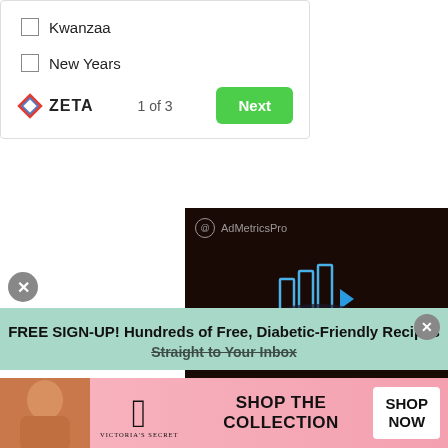Kwanzaa
New Years
[Figure (screenshot): Zeta logo with navigation: 1 of 3, Next button (green)]
[Figure (screenshot): AdMetricsPro video player showing Mr. Food Test Kitchen video on dark background with play icon and mute button]
[Figure (screenshot): FREE SIGN-UP! Hundreds of Free, Diabetic-Friendly Recipes Straight to Your Inbox — green/teal banner ad with close button]
[Figure (screenshot): Victoria's Secret advertisement banner: SHOP THE COLLECTION / SHOP NOW button, pink background with model]